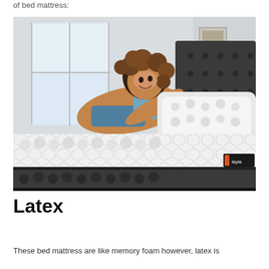of bed mattress:
[Figure (photo): A smiling woman with curly hair lying on a white mattress with pillow in a bright bedroom, looking out the window. The mattress has a distinctive hexagonal quilted white top and a dark gray base with a Layla label.]
Latex
These bed mattress are like memory foam however, latex is